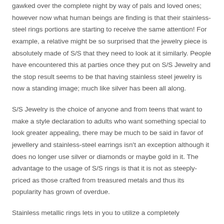gawked over the complete night by way of pals and loved ones; however now what human beings are finding is that their stainless-steel rings portions are starting to receive the same attention! For example, a relative might be so surprised that the jewelry piece is absolutely made of S/S that they need to look at it similarly. People have encountered this at parties once they put on S/S Jewelry and the stop result seems to be that having stainless steel jewelry is now a standing image; much like silver has been all along.
S/S Jewelry is the choice of anyone and from teens that want to make a style declaration to adults who want something special to look greater appealing, there may be much to be said in favor of jewellery and stainless-steel earrings isn't an exception although it does no longer use silver or diamonds or maybe gold in it. The advantage to the usage of S/S rings is that it is not as steeply-priced as those crafted from treasured metals and thus its popularity has grown of overdue.
Stainless metallic rings lets in you to utilize a completely...